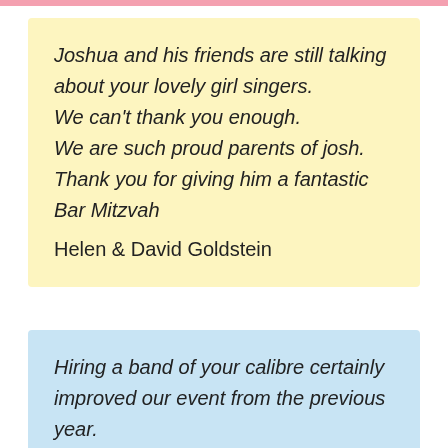Joshua and his friends are still talking about your lovely girl singers. We can't thank you enough. We are such proud parents of josh. Thank you for giving him a fantastic Bar Mitzvah
Helen & David Goldstein
Hiring a band of your calibre certainly improved our event from the previous year.